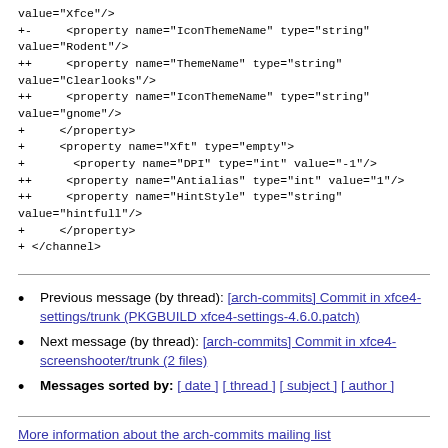value="Xfce"/>
+-     <property name="IconThemeName" type="string" value="Rodent"/>
++     <property name="ThemeName" type="string" value="Clearlooks"/>
++     <property name="IconThemeName" type="string" value="gnome"/>
+     </property>
+     <property name="Xft" type="empty">
+       <property name="DPI" type="int" value="-1"/>
++     <property name="Antialias" type="int" value="1"/>
++     <property name="HintStyle" type="string" value="hintfull"/>
+     </property>
+ </channel>
Previous message (by thread): [arch-commits] Commit in xfce4-settings/trunk (PKGBUILD xfce4-settings-4.6.0.patch)
Next message (by thread): [arch-commits] Commit in xfce4-screenshooter/trunk (2 files)
Messages sorted by: [ date ] [ thread ] [ subject ] [ author ]
More information about the arch-commits mailing list